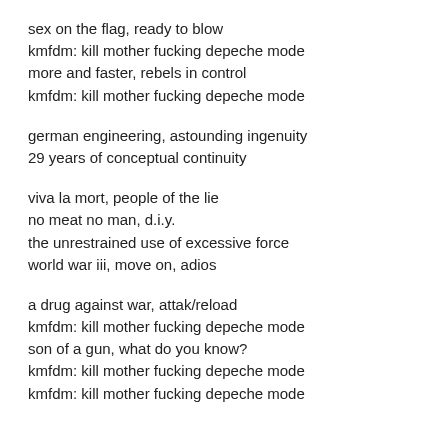sex on the flag, ready to blow
kmfdm: kill mother fucking depeche mode
more and faster, rebels in control
kmfdm: kill mother fucking depeche mode
german engineering, astounding ingenuity
29 years of conceptual continuity
viva la mort, people of the lie
no meat no man, d.i.y.
the unrestrained use of excessive force
world war iii, move on, adios
a drug against war, attak/reload
kmfdm: kill mother fucking depeche mode
son of a gun, what do you know?
kmfdm: kill mother fucking depeche mode
kmfdm: kill mother fucking depeche mode